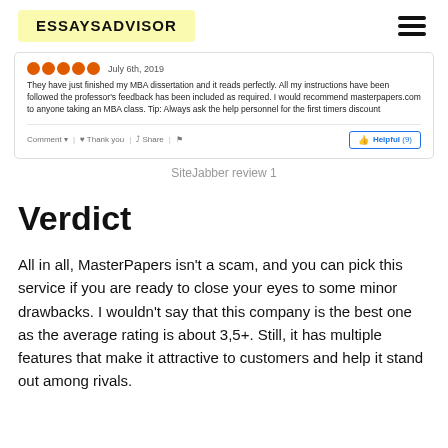ESSAYSADVISOR
[Figure (screenshot): A SiteJabber review card with five orange circle stars, date July 6th, 2019, review text about MBA dissertation and masterpapers.com, with Comment, Thank you, Share links and a Helpful (9) button.]
SiteJabber review 1
Verdict
All in all, MasterPapers isn't a scam, and you can pick this service if you are ready to close your eyes to some minor drawbacks. I wouldn't say that this company is the best one as the average rating is about 3,5+. Still, it has multiple features that make it attractive to customers and help it stand out among rivals.